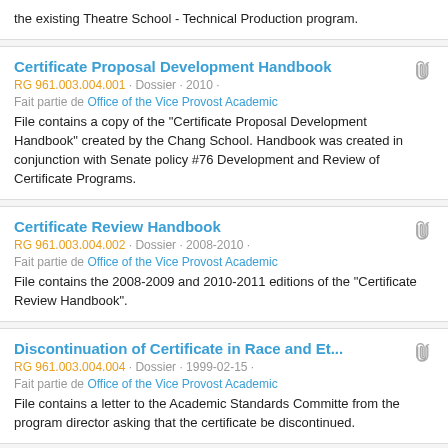the existing Theatre School - Technical Production program.
Certificate Proposal Development Handbook
RG 961.003.004.001 · Dossier · 2010 · Fait partie de Office of the Vice Provost Academic
File contains a copy of the "Certificate Proposal Development Handbook" created by the Chang School. Handbook was created in conjunction with Senate policy #76 Development and Review of Certificate Programs.
Certificate Review Handbook
RG 961.003.004.002 · Dossier · 2008-2010 · Fait partie de Office of the Vice Provost Academic
File contains the 2008-2009 and 2010-2011 editions of the "Certificate Review Handbook".
Discontinuation of Certificate in Race and Et...
RG 961.003.004.004 · Dossier · 1999-02-15 · Fait partie de Office of the Vice Provost Academic
File contains a letter to the Academic Standards Committe from the program director asking that the certificate be discontinued.